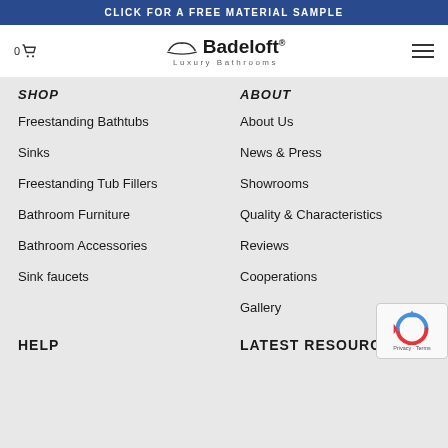CLICK FOR A FREE MATERIAL SAMPLE
[Figure (logo): Badeloft Luxury Bathrooms logo with bathtub icon, cart icon (0), and hamburger menu]
SHOP
ABOUT
Freestanding Bathtubs
About Us
Sinks
News & Press
Freestanding Tub Fillers
Showrooms
Bathroom Furniture
Quality & Characteristics
Bathroom Accessories
Reviews
Sink faucets
Cooperations
Gallery
HELP
LATEST RESOURCES